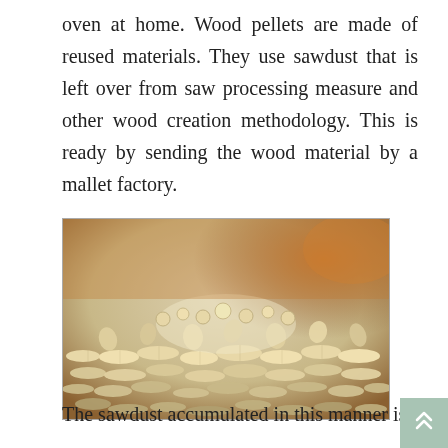oven at home. Wood pellets are made of reused materials. They use sawdust that is left over from saw processing measure and other wood creation methodology. This is ready by sending the wood material by a mallet factory.
[Figure (photo): A close-up photograph of a large pile of cylindrical wood pellets, light beige/cream colored, with a warm amber/brown background suggesting a storage facility.]
The sawdust accumulated in this manner is